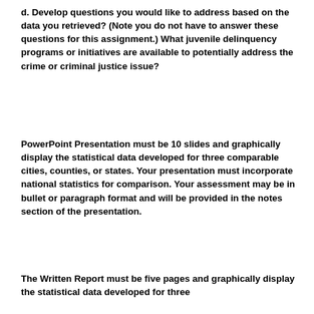d. Develop questions you would like to address based on the data you retrieved? (Note you do not have to answer these questions for this assignment.) What juvenile delinquency programs or initiatives are available to potentially address the crime or criminal justice issue?
PowerPoint Presentation must be 10 slides and graphically display the statistical data developed for three comparable cities, counties, or states. Your presentation must incorporate national statistics for comparison. Your assessment may be in bullet or paragraph format and will be provided in the notes section of the presentation.
The Written Report must be five pages and graphically display the statistical data developed for three comparable cities, counties, or states.